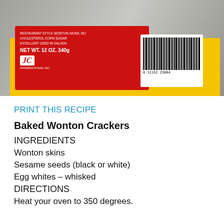[Figure (photo): Product package photo showing a red and yellow wonton skin package with barcode. Net wt. 12 oz. 340g. Barcode number 0 11152 23004.]
PRINT THIS RECIPE
Baked Wonton Crackers
INGREDIENTS
Wonton skins
Sesame seeds (black or white)
Egg whites – whisked
DIRECTIONS
Heat your oven to 350 degrees.